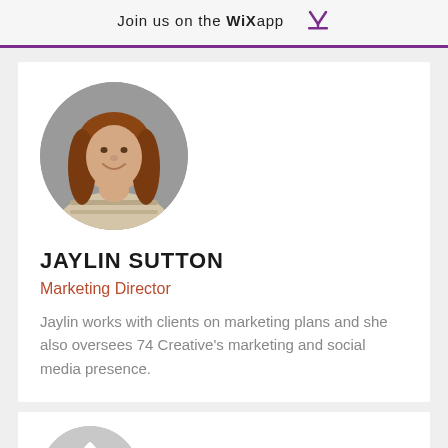Join us on the WiX app
[Figure (photo): Circular profile photo of Jaylin Sutton, a young woman with long reddish-brown hair, smiling, wearing a striped top, against a gray background]
JAYLIN SUTTON
Marketing Director
Jaylin works with clients on marketing plans and she also oversees 74 Creative's marketing and social media presence.
[Figure (photo): Partially visible circular profile photo of a second person (man) with an arrow-up icon overlay, at the bottom of the page]